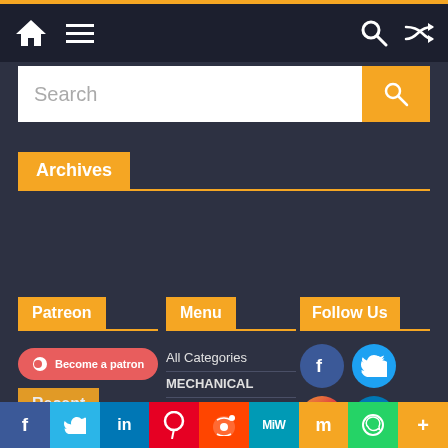Navigation bar with home, menu, search, shuffle icons
Search
Archives
Select Month
Patreon
Menu
Follow Us
[Figure (logo): Become a patron button (Patreon red pill button)]
All Categories
MECHANICAL
Electrical
[Figure (infographic): Social media icons: Facebook, Twitter, Instagram, LinkedIn]
Recent
Share bar: Facebook, Twitter, LinkedIn, Pinterest, Reddit, MeWe, Mix, WhatsApp, More